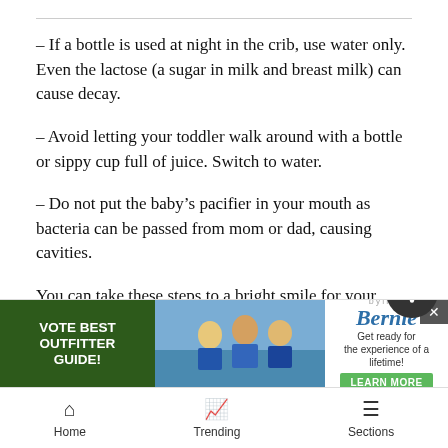– If a bottle is used at night in the crib, use water only. Even the lactose (a sugar in milk and breast milk) can cause decay.
– Avoid letting your toddler walk around with a bottle or sippy cup full of juice. Switch to water.
– Do not put the baby's pacifier in your mouth as bacteria can be passed from mom or dad, causing cavities.
You can take these steps to a bright smile for your child:
– Brus... aste,
[Figure (other): Advertisement banner with 'Vote Best Outfitter Guide' on left in green, photo of people in middle, and 'Get ready for the experience of a lifetime! Learn More' with Bernie branding on right. Close button top right. Bell notification icon bottom right.]
Home   Trending   Sections